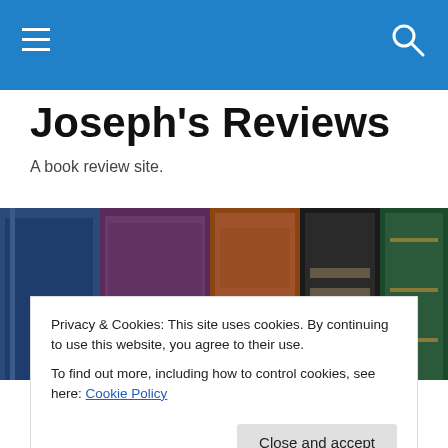Navigation bar with hamburger menu and search icon
Joseph's Reviews
A book review site.
[Figure (photo): Close-up photo of vintage book spines in blue, purple, brown, black, and green colors arranged side by side]
Privacy & Cookies: This site uses cookies. By continuing to use this website, you agree to their use.
To find out more, including how to control cookies, see here: Cookie Policy
Major Dudes: A Steely Dan Compendium, edited by